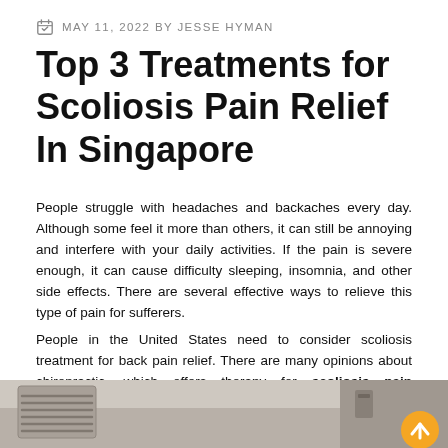MAY 11, 2022 BY JESSE HYMAN
Top 3 Treatments for Scoliosis Pain Relief In Singapore
People struggle with headaches and backaches every day. Although some feel it more than others, it can still be annoying and interfere with your daily activities. If the pain is severe enough, it can cause difficulty sleeping, insomnia, and other side effects. There are several effective ways to relieve this type of pain for sufferers.
People in the United States need to consider scoliosis treatment for back pain relief. There are many opinions about chiropractic, which offers therapy for scoliosis pain treatment. You are very supported and involved by most people.
[Figure (photo): Bottom portion of a room showing a ceiling vent and wall, with a scroll-to-top button (orange circle with upward arrow) in the lower right corner.]